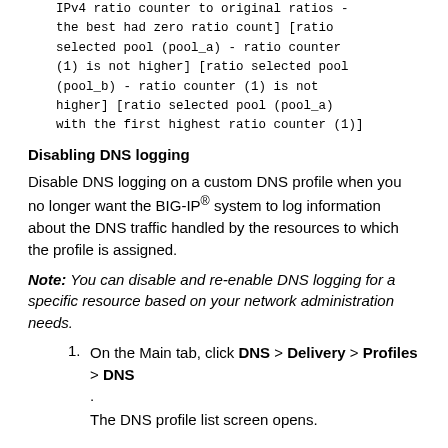IPv4 ratio counter to original ratios - the best had zero ratio count] [ratio selected pool (pool_a) - ratio counter (1) is not higher] [ratio selected pool (pool_b) - ratio counter (1) is not higher] [ratio selected pool (pool_a) with the first highest ratio counter (1)]
Disabling DNS logging
Disable DNS logging on a custom DNS profile when you no longer want the BIG-IP® system to log information about the DNS traffic handled by the resources to which the profile is assigned.
Note: You can disable and re-enable DNS logging for a specific resource based on your network administration needs.
1. On the Main tab, click DNS > Delivery > Profiles > DNS .
The DNS profile list screen opens.